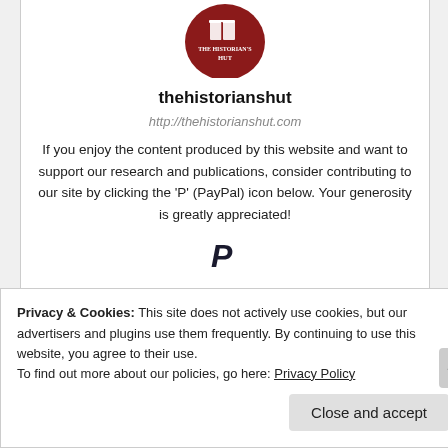[Figure (logo): The Historian's Hut circular dark red logo with a book icon and text 'The Historian's Hut']
thehistorianshut
http://thehistorianshut.com
If you enjoy the content produced by this website and want to support our research and publications, consider contributing to our site by clicking the 'P' (PayPal) icon below. Your generosity is greatly appreciated!
[Figure (logo): PayPal 'P' icon in bold dark style]
Privacy & Cookies: This site does not actively use cookies, but our advertisers and plugins use them frequently. By continuing to use this website, you agree to their use.
To find out more about our policies, go here: Privacy Policy
Close and accept